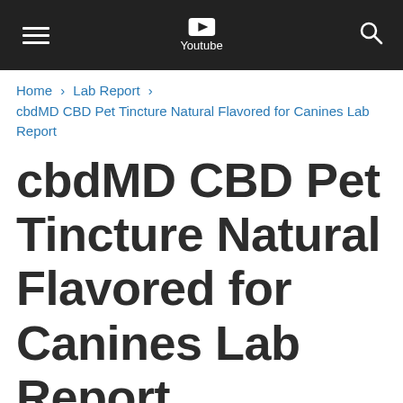Youtube
Home > Lab Report > cbdMD CBD Pet Tincture Natural Flavored for Canines Lab Report
cbdMD CBD Pet Tincture Natural Flavored for Canines Lab Report
cbdMD CBD Pet Tincture Natural Flavored for Canines Lab Report important details about vaping products.